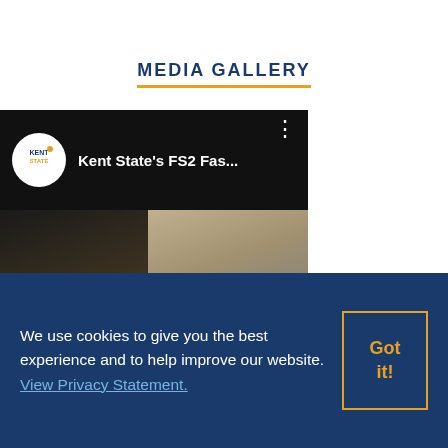MEDIA GALLERY
[Figure (screenshot): Embedded YouTube video player showing Kent State's FS2 Fas... video, with a black top bar showing the Kent State logo and video title with a three-dot menu, and a thumbnail below showing fashion show models with a red YouTube play button overlay]
We use cookies to give you the best experience and to help improve our website. View Privacy Statement.